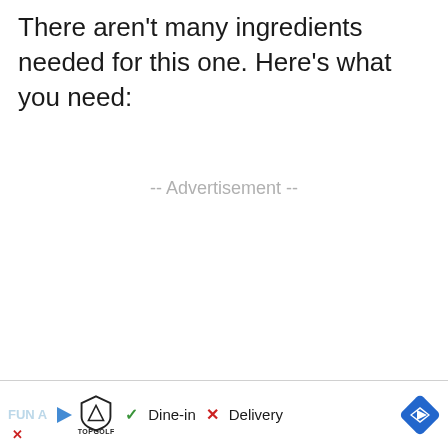There aren't many ingredients needed for this one. Here's what you need:
-- Advertisement --
[Figure (infographic): Advertisement banner at the bottom showing a play button, Topgolf logo, checkmark with 'Dine-in', X with 'Delivery', and a blue navigation/direction diamond icon. Also partially visible 'FUN A' text on the left edge.]